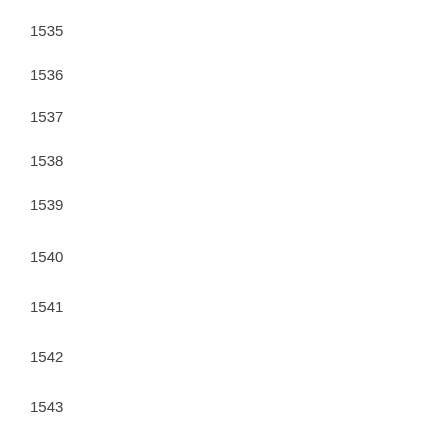1535
1536
1537
1538
1539
1540
1541
1542
1543